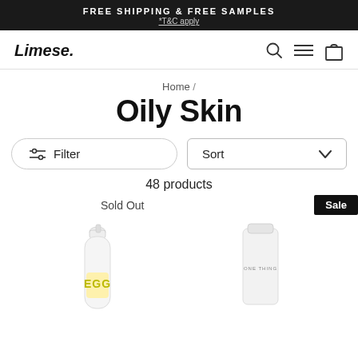FREE SHIPPING & FREE SAMPLES
*T&C apply
Limese.
Home / Oily Skin
Oily Skin
Filter
Sort
48 products
Sold Out
Sale
[Figure (photo): Two skincare product bottles: a white aerosol spray bottle with EGG label and a white tube labeled ONE THING]
Product images for Oily Skin category